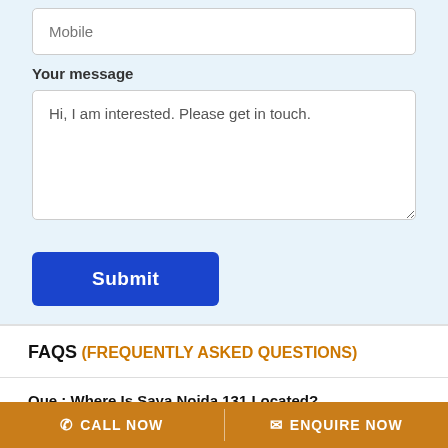Mobile
Your message
Hi, I am interested. Please get in touch.
Submit
FAQS (FREQUENTLY ASKED QUESTIONS)
Que : Where Is Saya Noida 131 Located?
Ans : Located At Sector 131 Noida Expressway, Noida
Que : Is Saya Noida 131 Rera Registered?
CALL NOW
ENQUIRE NOW